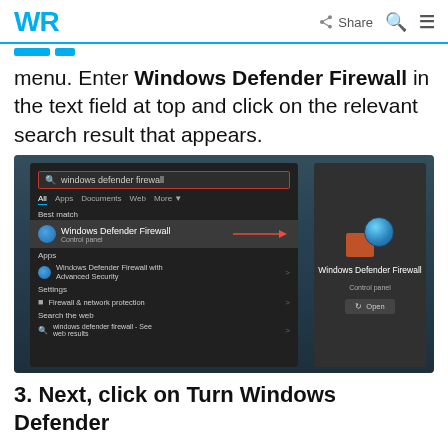WR  Share
menu. Enter Windows Defender Firewall in the text field at top and click on the relevant search result that appears.
[Figure (screenshot): Windows 11 search results showing 'windows defender firewall' typed in the search bar, with Windows Defender Firewall (Control panel) highlighted as Best match, a red arrow pointing to it, and the right panel showing the Windows Defender Firewall icon with an Open button.]
3. Next, click on Turn Windows Defender